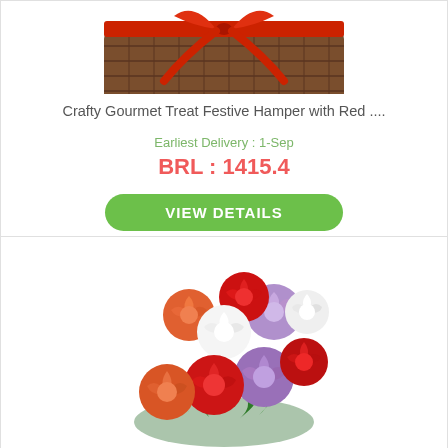[Figure (photo): Wicker gift hamper basket with red ribbon bow on top, viewed from above]
Crafty Gourmet Treat Festive Hamper with Red ....
Earliest Delivery : 1-Sep
BRL : 1415.4
VIEW DETAILS
[Figure (photo): Colorful bouquet of mixed roses including red, purple/lavender, orange, and white roses with green leaves]